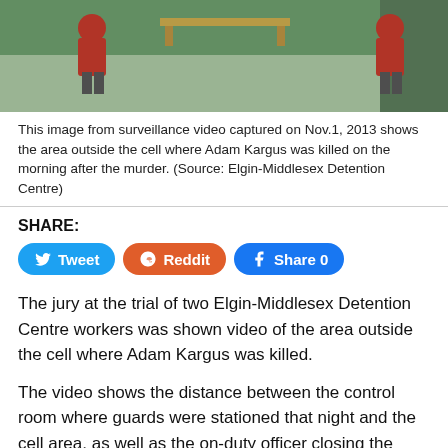[Figure (screenshot): Surveillance video still image from Nov. 1, 2013 showing the area outside the cell at Elgin-Middlesex Detention Centre. Two people in red shirts visible in the room.]
This image from surveillance video captured on Nov.1, 2013 shows the area outside the cell where Adam Kargus was killed on the morning after the murder. (Source: Elgin-Middlesex Detention Centre)
SHARE:
The jury at the trial of two Elgin-Middlesex Detention Centre workers was shown video of the area outside the cell where Adam Kargus was killed.
The video shows the distance between the control room where guards were stationed that night and the cell area, as well as the on-duty officer closing the control room door.